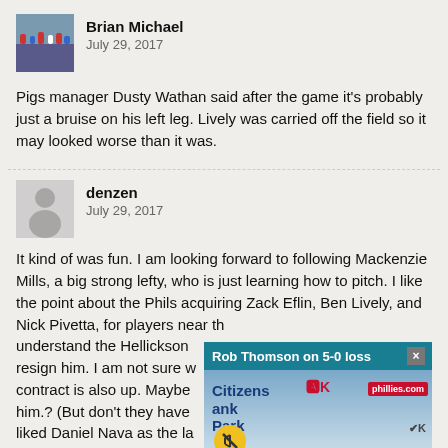Brian Michael
July 29, 2017
Pigs manager Dusty Wathan said after the game it's probably just a bruise on his left leg. Lively was carried off the field so it may looked worse than it was.
denzen
July 29, 2017
It kind of was fun. I am looking forward to following Mackenzie Mills, a big strong lefty, who is just learning how to pitch. I like the point about the Phils acquiring Zack Eflin, Ben Lively, and Nick Pivetta, for players near the... understand the Hellickson... resign him. I am not sure w... contract is also up. Maybe... him.? (But don't they have... liked Daniel Nava as the la... break down. I guess the Int... equation.
[Figure (screenshot): Video overlay of Rob Thomson at press conference, titled 'Rob Thomson on 5-0 loss', showing Citizens Bank Park signage]